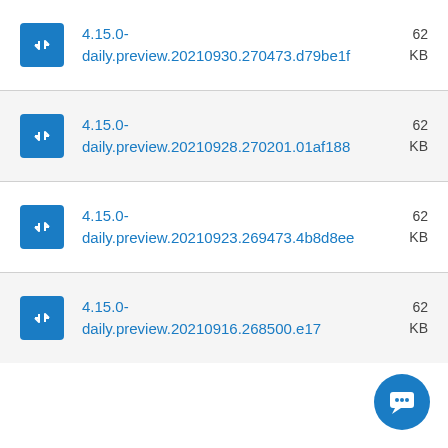4.15.0-daily.preview.20210930.270473.d79be1f   62 KB
4.15.0-daily.preview.20210928.270201.01af188   62 KB
4.15.0-daily.preview.20210923.269473.4b8d8ee   62 KB
4.15.0-daily.preview.20210916.268500.e17…   62 KB